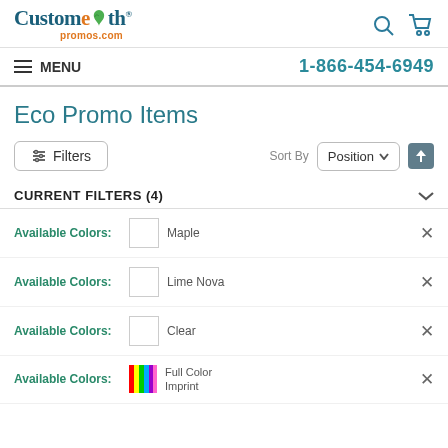[Figure (logo): CustomEarth Promos logo with leaf graphic and promos.com text]
1-866-454-6949
MENU
Eco Promo Items
Filters | Sort By Position
CURRENT FILTERS (4)
Available Colors: Maple
Available Colors: Lime Nova
Available Colors: Clear
Available Colors: Full Color Imprint